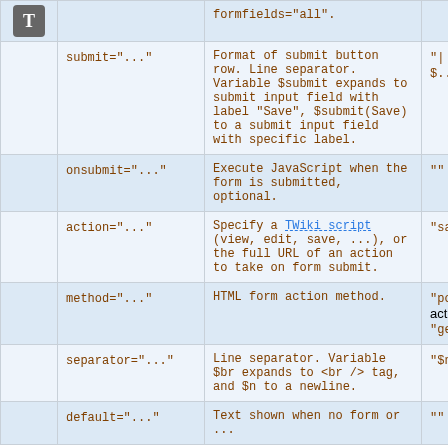| Attribute | Description | Default |
| --- | --- | --- |
|  | formfields="all". |  |
| submit="..." | Format of submit button row. Line separator. Variable $submit expands to submit input field with label "Save", $submit(Save) to a submit input field with specific label. | "| | $..." |
| onsubmit="..." | Execute JavaScript when the form is submitted, optional. | "" |
| action="..." | Specify a TWiki script (view, edit, save, ...), or the full URL of an action to take on form submit. | "save" |
| method="..." | HTML form action method. | "post" action, "get" |
| separator="..." | Line separator. Variable $br expands to <br /> tag, and $n to a newline. | "$n" |
| default="..." | Text shown when no form or ... | "" |